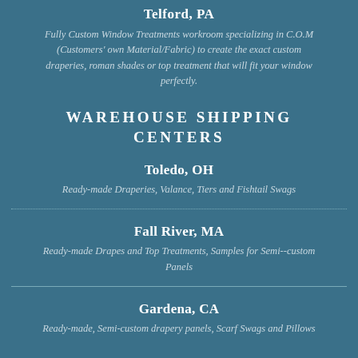Telford, PA
Fully Custom Window Treatments workroom specializing in C.O.M (Customers' own Material/Fabric) to create the exact custom draperies, roman shades or top treatment that will fit your window perfectly.
WAREHOUSE SHIPPING CENTERS
Toledo, OH
Ready-made Draperies, Valance, Tiers and Fishtail Swags
Fall River, MA
Ready-made Drapes and Top Treatments, Samples for Semi--custom Panels
Gardena, CA
Ready-made, Semi-custom drapery panels, Scarf Swags and Pillows